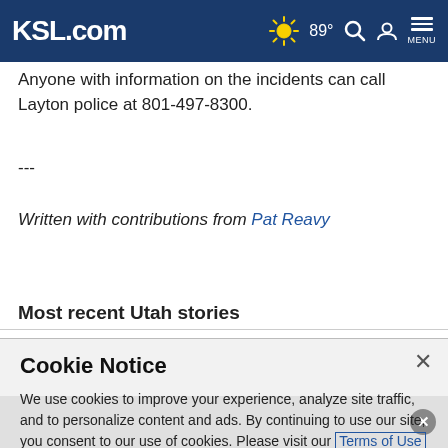KSL.com | 89° | Search | Account | Menu
Anyone with information on the incidents can call Layton police at 801-497-8300.
---
Written with contributions from Pat Reavy
Most recent Utah stories
Cookie Notice
We use cookies to improve your experience, analyze site traffic, and to personalize content and ads. By continuing to use our site, you consent to our use of cookies. Please visit our Terms of Use and  Privacy Policy for more information.